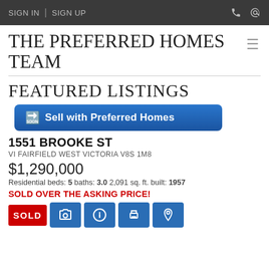SIGN IN | SIGN UP
THE PREFERRED HOMES TEAM
FEATURED LISTINGS
[Figure (other): Blue button with arrow emoji: 'Sell with Preferred Homes']
1551 BROOKE ST
VI FAIRFIELD WEST VICTORIA V8S 1M8
$1,290,000
Residential beds: 5 baths: 3.0 2,091 sq. ft. built: 1957
SOLD OVER THE ASKING PRICE!
[Figure (other): Action icon buttons: SOLD badge (red), camera icon (blue), info icon (blue), print icon (blue), location pin icon (blue)]